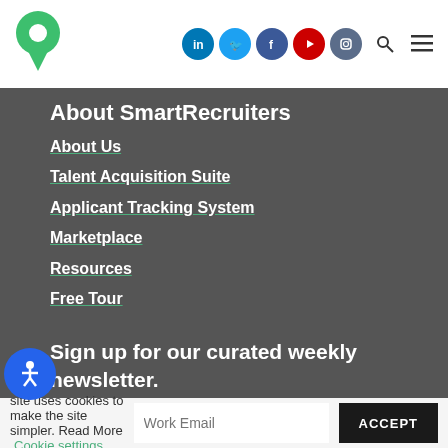[Figure (logo): SmartRecruiters green pin/location icon logo]
[Figure (infographic): Social media icons: LinkedIn, Twitter, Facebook, YouTube, Instagram, plus search and hamburger menu icons]
About SmartRecruiters
About Us
Talent Acquisition Suite
Applicant Tracking System
Marketplace
Resources
Free Tour
Sign up for our curated weekly newsletter.
By filling out this form you agree to our Privacy Policy and Terms of Service, as well as express your consent to receive communications from us.
This site uses cookies to make the site simpler. Read More Cookie settings
Work Email
ACCEPT